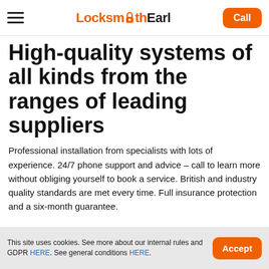Locksmith Earl — navigation bar with hamburger menu and Call button
High-quality systems of all kinds from the ranges of leading suppliers
Professional installation from specialists with lots of experience. 24/7 phone support and advice – call to learn more without obliging yourself to book a service. British and industry quality standards are met every time. Full insurance protection and a six-month guarantee.
This site uses cookies. See more about our internal rules and GDPR HERE. See general conditions HERE.